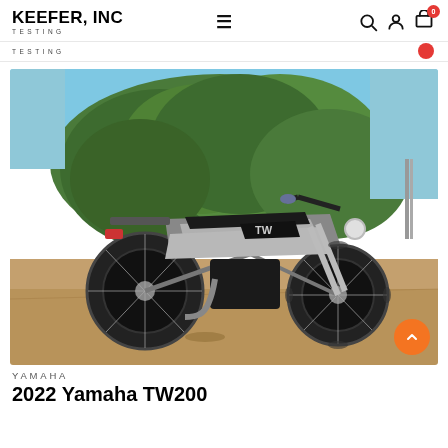KEEFER, INC TESTING
[Figure (photo): 2022 Yamaha TW200 motorcycle parked on dirt ground in front of a large green cedar/juniper tree, with a clear blue sky in the background. The bike is silver and black with wide knobby tires.]
YAMAHA
2022 Yamaha TW200